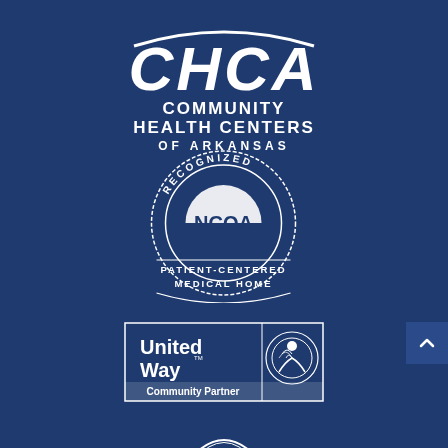[Figure (logo): CHCA Community Health Centers of Arkansas logo in white on dark blue background]
[Figure (logo): NCQA Recognized Patient-Centered Medical Home circular badge in white outline on dark blue background]
[Figure (logo): United Way Community Partner logo in white outline box on dark blue background]
[Figure (logo): Partially visible logo at bottom of page on dark blue background]